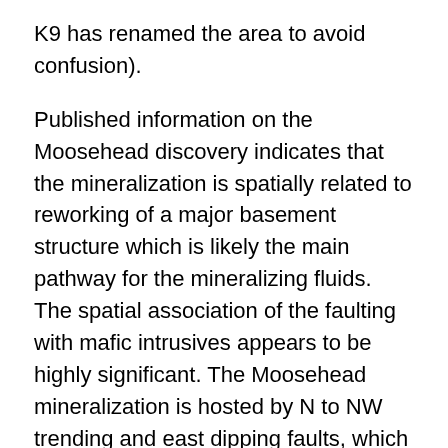K9 has renamed the area to avoid confusion).
Published information on the Moosehead discovery indicates that the mineralization is spatially related to reworking of a major basement structure which is likely the main pathway for the mineralizing fluids. The spatial association of the faulting with mafic intrusives appears to be highly significant. The Moosehead mineralization is hosted by N to NW trending and east dipping faults, which appear to be related to meso-scale anticlinal folding. These types of mineralizing systems typically have great lateral and depth extents (measured in kilometers).
Recent (2019) and historic (2001) geophysical work on the Jumper's Pond area strongly suggests the presence of a large fold structure that plunges to the NE towards Moosehead, as well as several NW-trending structural features. The presence of mafic